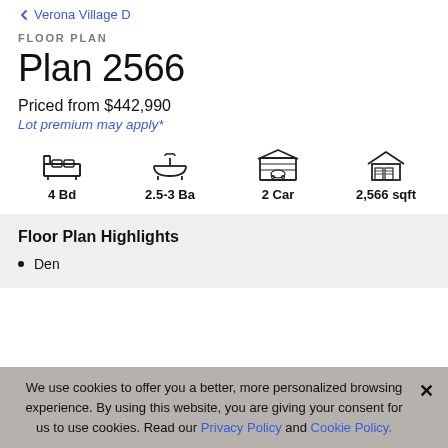Verona Village D
FLOOR PLAN
Plan 2566
Priced from $442,990
Lot premium may apply*
[Figure (infographic): Four icons showing home features: bed icon (4 Bd), bathtub icon (2.5-3 Ba), garage/car icon (2 Car), house icon (2,566 sqft)]
Floor Plan Highlights
Den
We use cookies to offer you a better, more personalized browsing experience. By using this website, you are giving your consent for us to use cookies. Read our Privacy Policy and Cookie Policy.